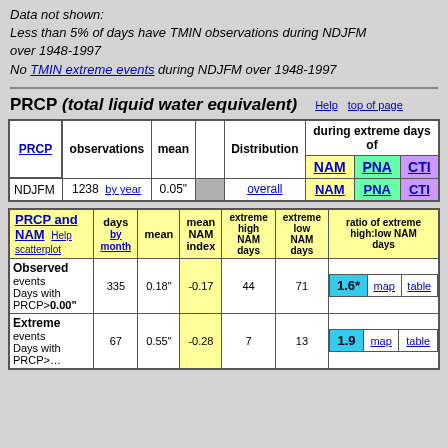Data not shown:
Less than 5% of days have TMIN observations during NDJFM over 1948-1997
No TMIN extreme events during NDJFM over 1948-1997
PRCP (total liquid water equivalent)
| PRCP | observations | mean |  | Distribution | during extreme days of NAM / PNA / CTI |
| --- | --- | --- | --- | --- | --- |
| NDJFM | 1238  by year | 0.05" |  | overall | NAM | PNA | CTI |
| PRCP and NAM | days by month | mean | mean NAM index | extreme high NAM days | extreme low NAM days | ratio of extreme high:low NAM days |
| --- | --- | --- | --- | --- | --- | --- |
| Observed events Days with PRCP>0.00" | 335 | 0.18" | -0.17 | 44 | 71 | 1.6*  map  table |
| Extreme events Days with PRCP>... | 67 | 0.55" | -0.28 | 7 | 13 | 1.9  map  table |